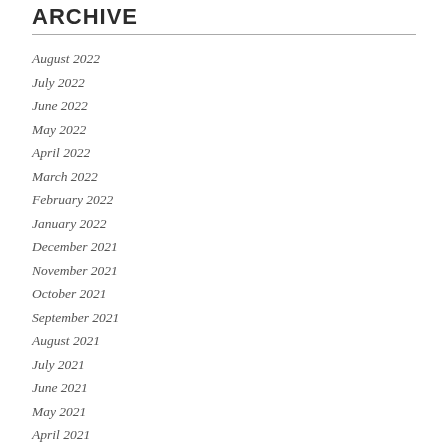ARCHIVE
August 2022
July 2022
June 2022
May 2022
April 2022
March 2022
February 2022
January 2022
December 2021
November 2021
October 2021
September 2021
August 2021
July 2021
June 2021
May 2021
April 2021
March 2021
February 2021
January 2021